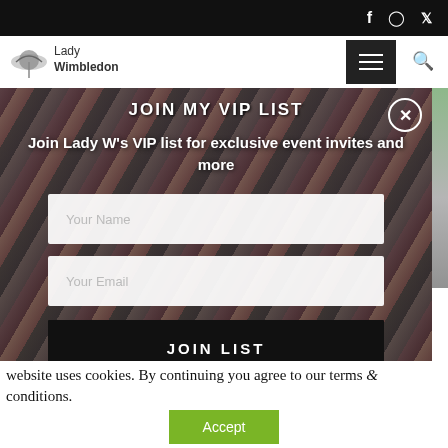Lady Wimbledon — social icons: f, Instagram, Twitter
[Figure (screenshot): Lady Wimbledon logo with hat silhouette icon and site name]
[Figure (screenshot): Hamburger menu button and search icon in top navigation]
[Figure (screenshot): VIP list signup modal popup over blurred London background photo. Title: JOIN MY VIP LIST. Subtitle: Join Lady W's VIP list for exclusive event invites and more. Form fields: Your Name, Your Email. Button: JOIN LIST.]
website uses cookies. By continuing you agree to our terms & conditions.
Accept